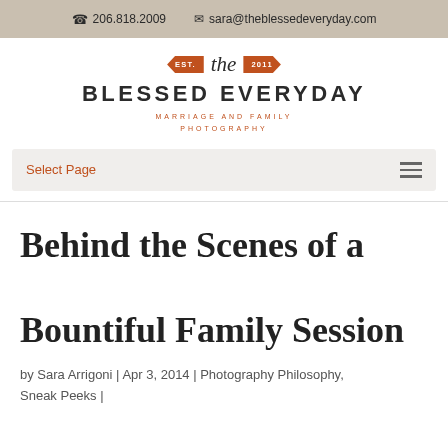206.818.2009   sara@theblessedeveryday.com
[Figure (logo): The Blessed Everyday logo — EST. badge, 'the' in serif italic, 2011 badge, BLESSED EVERYDAY in bold uppercase, MARRIAGE AND FAMILY PHOTOGRAPHY in orange small caps]
Select Page
Behind the Scenes of a Bountiful Family Session
by Sara Arrigoni | Apr 3, 2014 | Photography Philosophy, Sneak Peeks |